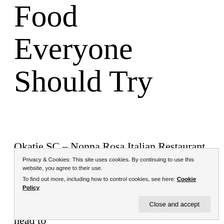Food Everyone Should Try
Okatie SC – Nonna Rosa Italian Restaurant, known for its authentic cuisines, puts a spotlight on the best foods from Italy everyone should try. Anyone who craves to Eat Italian Food in Bluffton, SC, should head to
Privacy & Cookies: This site uses cookies. By continuing to use this website, you agree to their use. To find out more, including how to control cookies, see here: Cookie Policy